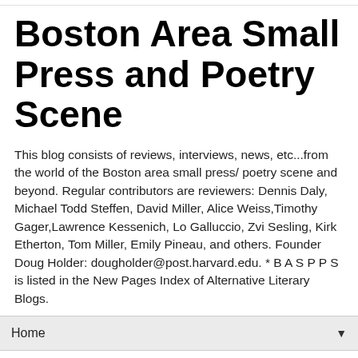Boston Area Small Press and Poetry Scene
This blog consists of reviews, interviews, news, etc...from the world of the Boston area small press/ poetry scene and beyond. Regular contributors are reviewers: Dennis Daly, Michael Todd Steffen, David Miller, Alice Weiss,Timothy Gager,Lawrence Kessenich, Lo Galluccio, Zvi Sesling, Kirk Etherton, Tom Miller, Emily Pineau, and others. Founder Doug Holder: dougholder@post.harvard.edu. * B A S P P S is listed in the New Pages Index of Alternative Literary Blogs.
Home
Wednesday, June 12, 2013
City of Possibilities by Jane Williams